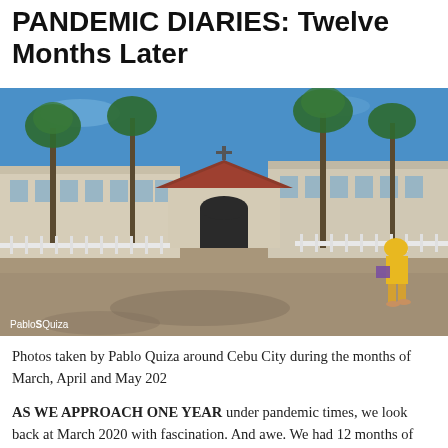PANDEMIC DIARIES: Twelve Months Later
[Figure (photo): Outdoor photo of a large historic building with a red-tiled roof gatehouse in the center, palm trees on both sides, a wide open paved plaza in the foreground, and a person in a yellow headscarf walking on the right side. Blue sky background. Credit: Pablo Quiza]
Pablo Quiza
Photos taken by Pablo Quiza around Cebu City during the months of March, April and May 202
AS WE APPROACH ONE YEAR under pandemic times, we look back at March 2020 with fascination. And awe. We had 12 months of lockdown and survived the so called